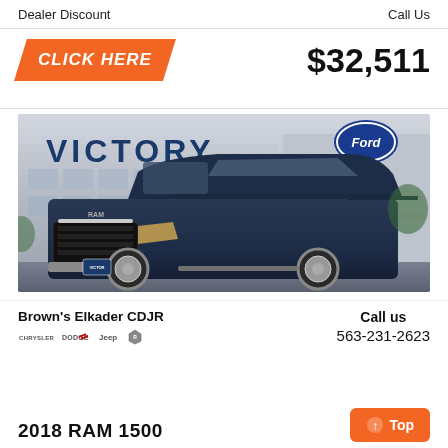Dealer Discount
Call Us
[Figure (other): Orange parallelogram button with white italic bold text CLICK HERE]
$32,511
[Figure (photo): Dark blue RAM 1500 pickup truck parked in front of Victory Ford dealership]
Brown's Elkader CDJR
[Figure (logo): Chrysler, Dodge, Jeep, Ram brand logos]
Call us
563-231-2623
[Figure (other): Orange Top button with up arrow]
2018 RAM 1500